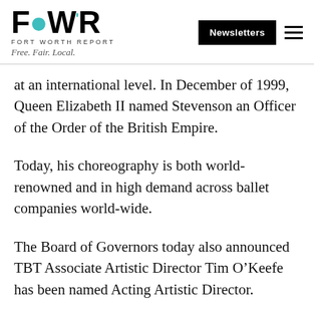FWR FORT WORTH REPORT Free. Fair. Local. | Newsletters
at an international level. In December of 1999, Queen Elizabeth II named Stevenson an Officer of the Order of the British Empire.
Today, his choreography is both world-renowned and in high demand across ballet companies world-wide.
The Board of Governors today also announced TBT Associate Artistic Director Tim O’Keefe has been named Acting Artistic Director.
Whät is happening for the ballet...